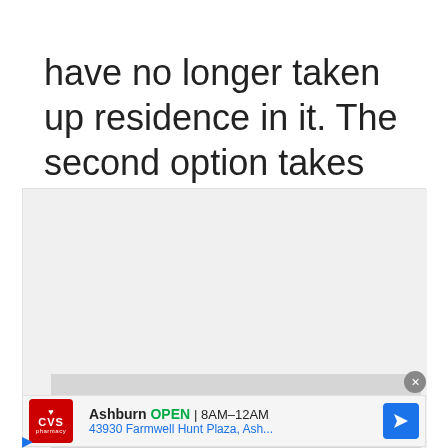have no longer taken up residence in it. The second option takes slightly more attention but is highly effective.
[Figure (screenshot): Video player area showing a grey placeholder with overlay message: 'No compatible source was found for this media.' A close button (X) is visible in the top-right corner of the overlay.]
[Figure (screenshot): CVS Pharmacy advertisement showing logo, 'Ashburn OPEN 8AM-12AM', address '43930 Farmwell Hunt Plaza, Ash...', and a blue navigation arrow icon.]